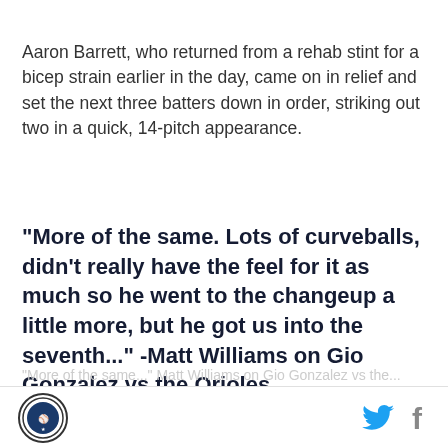Aaron Barrett, who returned from a rehab stint for a bicep strain earlier in the day, came on in relief and set the next three batters down in order, striking out two in a quick, 14-pitch appearance.
"More of the same. Lots of curveballs, didn't really have the feel for it as much so he went to the changeup a little more, but he got us into the seventh..." -Matt Williams on Gio Gonzalez vs the Orioles
[logo] [twitter] [facebook]